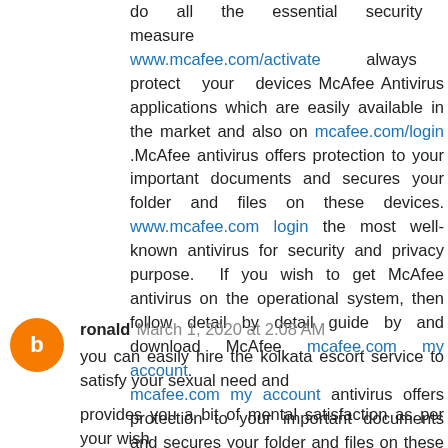do all the essential security measure www.mcafee.com/activate always protect your devices McAfee Antivirus applications which are easily available in the market and also on mcafee.com/login .McAfee antivirus offers protection to your important documents and secures your folder and files on these devices. www.mcafee.com login the most well-known antivirus for security and privacy purpose. If you wish to get McAfee antivirus on the operational system, then follow detail by detail guide by and download McAfee mcafee.com my account. mcafee.com my account antivirus offers protection to your important documents and secures your folder and files on these devices. It's the most well-known antivirus for security and privacy purpose mcafee activate product key
Reply
ronald March 1, 2020 at 2:08 AM
you can easily hire the kolkata escort service to satisfy your sexual need and
provides you a bit of mental satisfaction as per your wish